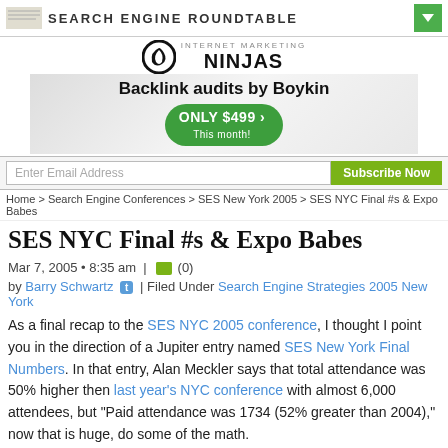SEARCH ENGINE ROUNDTABLE
[Figure (logo): Internet Marketing Ninjas logo with circular swirl icon and text 'INTERNET MARKETING NINJAS']
[Figure (infographic): Ad banner: Backlink audits by Boykin, ONLY $499 This month!]
Enter Email Address
Subscribe Now
Home > Search Engine Conferences > SES New York 2005 > SES NYC Final #s & Expo Babes
SES NYC Final #s & Expo Babes
Mar 7, 2005 • 8:35 am | (0)
by Barry Schwartz | Filed Under Search Engine Strategies 2005 New York
As a final recap to the SES NYC 2005 conference, I thought I point you in the direction of a Jupiter entry named SES New York Final Numbers. In that entry, Alan Meckler says that total attendance was 50% higher then last year's NYC conference with almost 6,000 attendees, but "Paid attendance was 1734 (52% greater than 2004)," now that is huge, do some of the math.